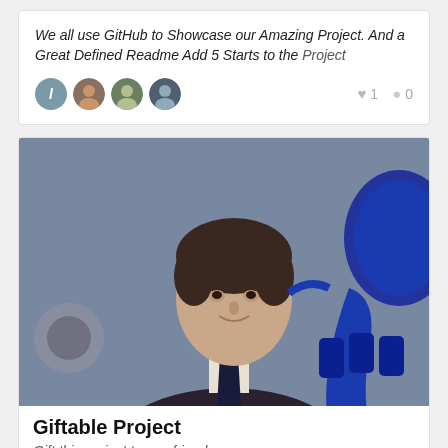We all use GitHub to Showcase our Amazing Project. And a Great Defined Readme Add 5 Starts to the Project
♥ 1  ● 0
[Figure (photo): A man in a dark suit and tie holding a blue trumpet/horn instrument, photographed against a grey textured background]
Giftable Project
Gift this project to you friend